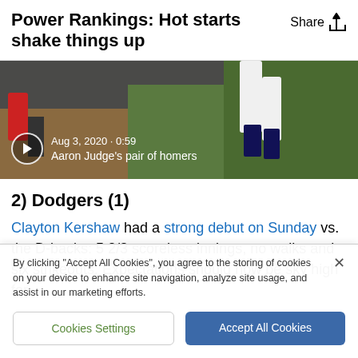Power Rankings: Hot starts shake things up
[Figure (screenshot): Video thumbnail showing baseball players, with play button, date 'Aug 3, 2020 · 0:59' and caption 'Aaron Judge's pair of homers']
2) Dodgers (1)
Clayton Kershaw had a strong debut on Sunday vs. the D-backs: 5 2/3 scoreless innings, no walks and six strikeouts. Expectations should now be sky high for
By clicking "Accept All Cookies", you agree to the storing of cookies on your device to enhance site navigation, analyze site usage, and assist in our marketing efforts.